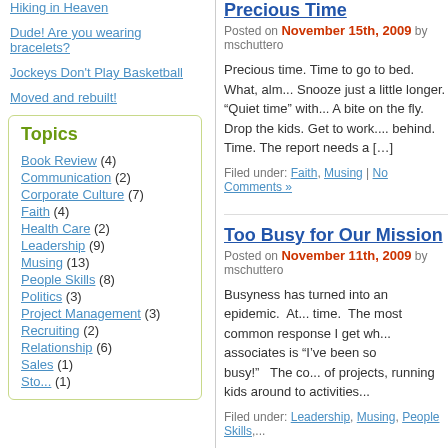Hiking in Heaven
Dude! Are you wearing bracelets?
Jockeys Don't Play Basketball
Moved and rebuilt!
Topics
Book Review (4)
Communication (2)
Corporate Culture (7)
Faith (4)
Health Care (2)
Leadership (9)
Musing (13)
People Skills (8)
Politics (3)
Project Management (3)
Recruiting (2)
Relationship (6)
Sales (1)
Precious Time
Posted on November 15th, 2009 by mschuttero
Precious time. Time to go to bed.  What, alm... Snooze just a little longer. “Quiet time” with... A bite on the fly. Drop the kids. Get to work.... behind. Time. The report needs a […]
Filed under: Faith, Musing | No Comments »
Too Busy for Our Mission
Posted on November 11th, 2009 by mschuttero
Busyness has turned into an epidemic.  At... time.  The most common response I get wh... associates is “I’ve been so busy!”   The co... of projects, running kids around to activities...
Filed under: Leadership, Musing, People Skills,...
« Previous Page